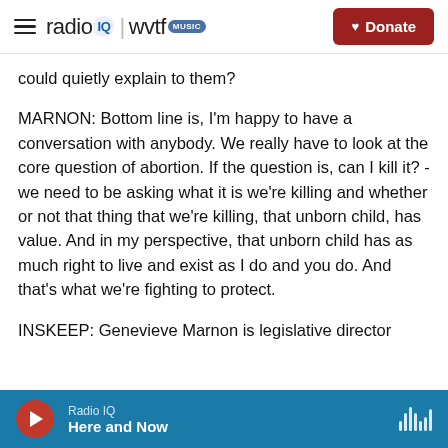radio IQ | wvtf MUSIC — Donate
could quietly explain to them?
MARNON: Bottom line is, I'm happy to have a conversation with anybody. We really have to look at the core question of abortion. If the question is, can I kill it? - we need to be asking what it is we're killing and whether or not that thing that we're killing, that unborn child, has value. And in my perspective, that unborn child has as much right to live and exist as I do and you do. And that's what we're fighting to protect.
INSKEEP: Genevieve Marnon is legislative director of
Radio IQ — Here and Now